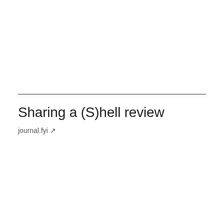Sharing a (S)hell review
journal.fyi ↗